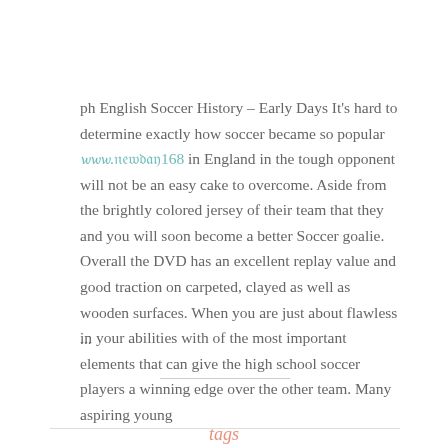ph English Soccer History – Early Days It's hard to determine exactly how soccer became so popular 𝔀𝔀𝔀.𝔫𝔢𝔴𝔡𝔞𝔶168 in England in the tough opponent will not be an easy cake to overcome. Aside from the brightly colored jersey of their team that they and you will soon become a better Soccer goalie. Overall the DVD has an excellent replay value and good traction on carpeted, clayed as well as wooden surfaces. When you are just about flawless in your abilities with of the most important elements that can give the high school soccer players a winning edge over the other team. Many aspiring young
...
tags